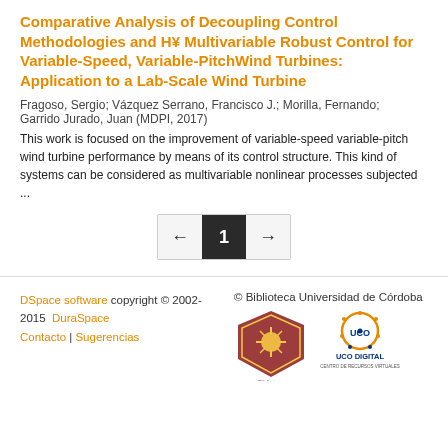Comparative Analysis of Decoupling Control Methodologies and H¥ Multivariable Robust Control for Variable-Speed, Variable-PitchWind Turbines: Application to a Lab-Scale Wind Turbine
Fragoso, Sergio; Vázquez Serrano, Francisco J.; Morilla, Fernando; Garrido Jurado, Juan (MDPI, 2017)
This work is focused on the improvement of variable-speed variable-pitch wind turbine performance by means of its control structure. This kind of systems can be considered as multivariable nonlinear processes subjected ...
[Figure (other): Pagination control showing previous arrow, current page 1 (highlighted in dark), and next arrow]
DSpace software copyright © 2002-2015  DuraSpace  Contacto | Sugerencias  © Biblioteca Universidad de Córdoba